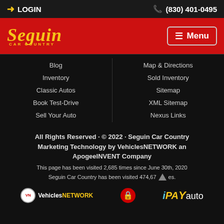LOGIN  (830) 401-0495
[Figure (logo): Seguin Car Country logo in yellow italic script on red background with Menu button]
Blog
Inventory
Classic Autos
Book Test-Drive
Sell Your Auto
Map & Directions
Sold Inventory
Sitemap
XML Sitemap
Nexus Links
All Rights Reserved · © 2022 · Seguin Car Country Marketing Technology by VehiclesNETWORK an ApogeeINVENT Company
This page has been visited 2,685 times since June 30th, 2020
Seguin Car Country has been visited 474,67X times.
[Figure (logo): VehiclesNETWORK logo, lock icon, and iPayauto logo]